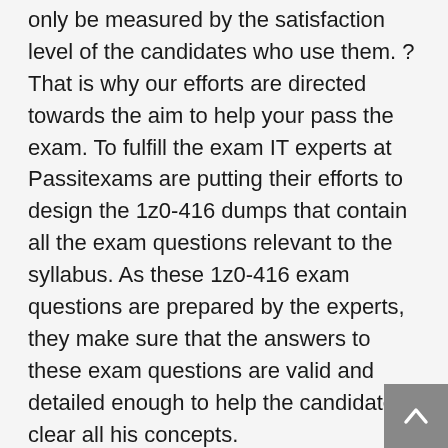only be measured by the satisfaction level of the candidates who use them. ?That is why our efforts are directed towards the aim to help your pass the exam. To fulfill the exam IT experts at Passitexams are putting their efforts to design the 1z0-416 dumps that contain all the exam questions relevant to the syllabus. As these 1z0-416 exam questions are prepared by the experts, they make sure that the answers to these exam questions are valid and detailed enough to help the candidate clear all his concepts.
The 1z0-416 dumps are reviewed and approved by the experts. Furthermore, to maintain the quality and to incorporate the requirements of the time in these exam dumps, experts make sure that 1z0-416 pdf